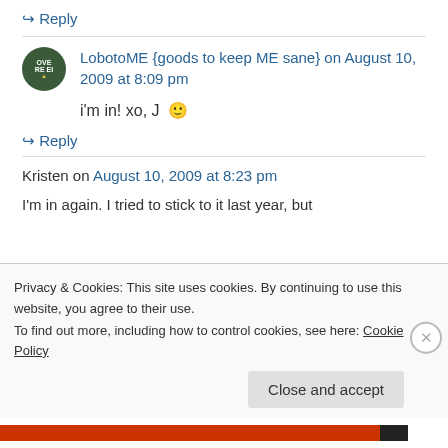↪ Reply
LobotoME {goods to keep ME sane} on August 10, 2009 at 8:09 pm
i'm in! xo, J 🙂
↪ Reply
Kristen on August 10, 2009 at 8:23 pm
I'm in again. I tried to stick to it last year, but
Privacy & Cookies: This site uses cookies. By continuing to use this website, you agree to their use.
To find out more, including how to control cookies, see here: Cookie Policy
Close and accept